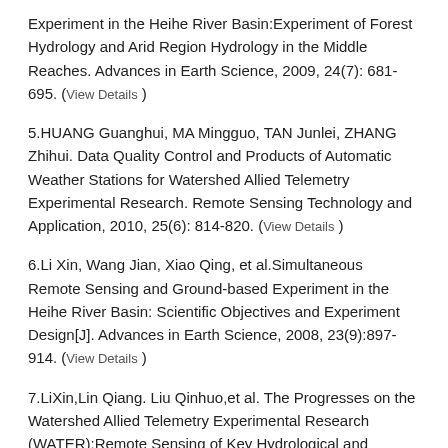Experiment in the Heihe River Basin:Experiment of Forest Hydrology and Arid Region Hydrology in the Middle Reaches. Advances in Earth Science, 2009, 24(7): 681-695. (View Details )
5.HUANG Guanghui, MA Mingguo, TAN Junlei, ZHANG Zhihui. Data Quality Control and Products of Automatic Weather Stations for Watershed Allied Telemetry Experimental Research. Remote Sensing Technology and Application, 2010, 25(6): 814-820. (View Details )
6.Li Xin, Wang Jian, Xiao Qing, et al.Simultaneous Remote Sensing and Ground-based Experiment in the Heihe River Basin: Scientific Objectives and Experiment Design[J]. Advances in Earth Science, 2008, 23(9):897-914. (View Details )
7.LiXin,Lin Qiang. Liu Qinhuo,et al. The Progresses on the Watershed Allied Telemetry Experimental Research (WATER):Remote Sensing of Key Hydrological and Ecological